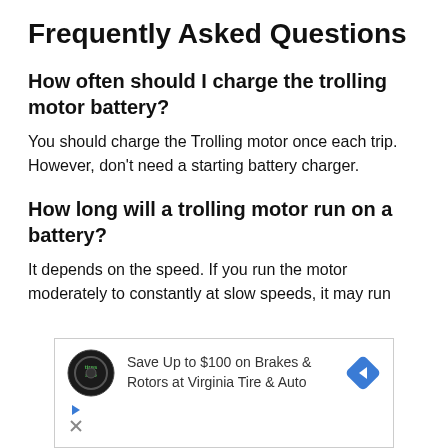Frequently Asked Questions
How often should I charge the trolling motor battery?
You should charge the Trolling motor once each trip. However, don't need a starting battery charger.
How long will a trolling motor run on a battery?
It depends on the speed. If you run the motor moderately to constantly at slow speeds, it may run
[Figure (other): Advertisement: Save Up to $100 on Brakes & Rotors at Virginia Tire & Auto, with Virginia Tire & Auto logo and blue diamond arrow icon]